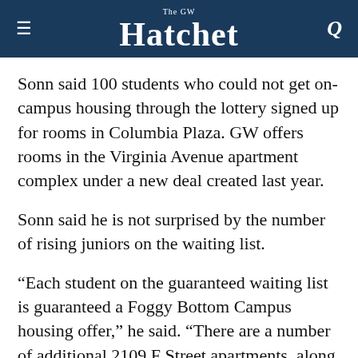The GW Hatchet
Sonn said 100 students who could not get on-campus housing through the lottery signed up for rooms in Columbia Plaza. GW offers rooms in the Virginia Avenue apartment complex under a new deal created last year.
Sonn said he is not surprised by the number of rising juniors on the waiting list.
“Each student on the guaranteed waiting list is guaranteed a Foggy Bottom Campus housing offer,” he said. “There are a number of additional 2109 F Street apartments, along with beds in other properties coming on line in the